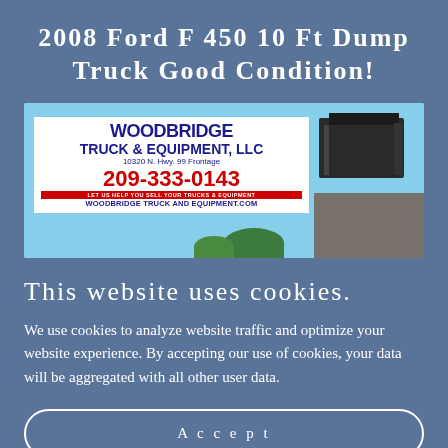2008 Ford F 450 10 Ft Dump Truck Good Condition!
[Figure (photo): Woodbridge Truck & Equipment LLC billboard sign with phone number 209-333-0143 and website woodbridgetruckandequipment.com, with a dump truck visible on the right side, blue sky background]
This website uses cookies.
We use cookies to analyze website traffic and optimize your website experience. By accepting our use of cookies, your data will be aggregated with all other user data.
Accept